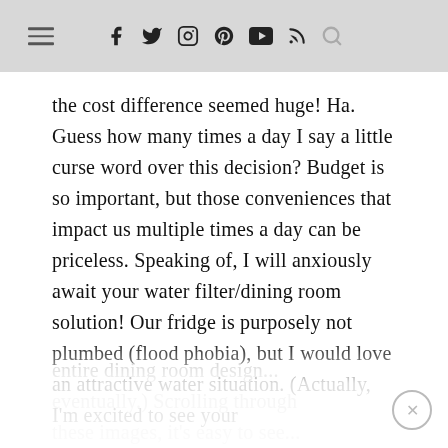≡ f 𝕏 ◎ ⊕ ▶ RSS 🔍
the cost difference seemed huge! Ha. Guess how many times a day I say a little curse word over this decision? Budget is so important, but those conveniences that impact us multiple times a day can be priceless. Speaking of, I will anxiously await your water filter/dining room solution! Our fridge is purposely not plumbed (flood phobia), but I would love an attractive water situation. (Actually, I'm excited to see your entire dining room design... eventually.) Scrolling through these images, it's easy to see...